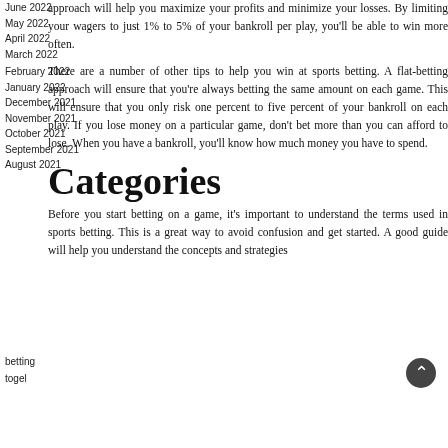June 2022
approach will help you maximize your profits and minimize
May 2022
your losses. By limiting your wagers to just 1% to 5% of
April 2022
your bankroll per play, you'll be able to win more often.
March 2022
February 2022
There are a number of other tips to help you win at sports betting. A flat-betting approach will ensure that you're always betting the same amount on each game. This will ensure that you only risk one percent to five percent of your bankroll on each play. If you lose money on a particular game, don't bet more than you can afford to lose. When you have a bankroll, you'll know how much money you have to spend.
January 2022
December 2021
November 2021
October 2021
September 2021
August 2021
Categories
betting
Before you start betting on a game, it's important to understand the terms used in sports betting. This is a great way to avoid confusion and get started. A good guide will help you understand the concepts and strategies
togel